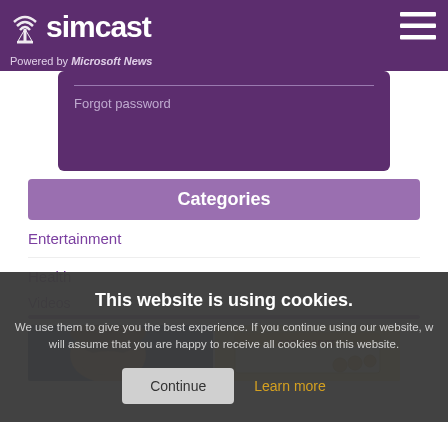simcast — Powered by Microsoft News
Forgot password
Categories
Entertainment
Health
This website is using cookies. We use them to give you the best experience. If you continue using our website, we will assume that you are happy to receive all cookies on this website.
Continue
Learn more
Videos
[Figure (photo): Two video thumbnails side by side: left shows a woman's face on blue background, right shows a 'TOP SECRET' yellow folder with coins]